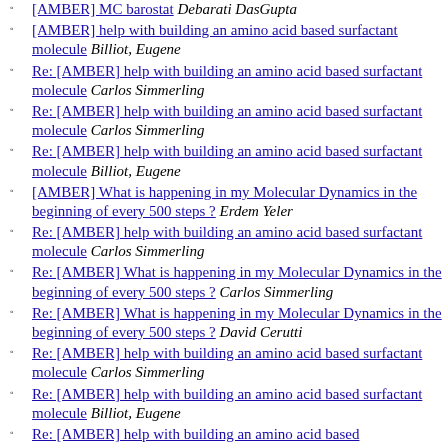[AMBER] MC barostat Debarati DasGupta
[AMBER] help with building an amino acid based surfactant molecule Billiot, Eugene
Re: [AMBER] help with building an amino acid based surfactant molecule Carlos Simmerling
Re: [AMBER] help with building an amino acid based surfactant molecule Carlos Simmerling
Re: [AMBER] help with building an amino acid based surfactant molecule Billiot, Eugene
[AMBER] What is happening in my Molecular Dynamics in the beginning of every 500 steps ? Erdem Yeler
Re: [AMBER] help with building an amino acid based surfactant molecule Carlos Simmerling
Re: [AMBER] What is happening in my Molecular Dynamics in the beginning of every 500 steps ? Carlos Simmerling
Re: [AMBER] What is happening in my Molecular Dynamics in the beginning of every 500 steps ? David Cerutti
Re: [AMBER] help with building an amino acid based surfactant molecule Carlos Simmerling
Re: [AMBER] help with building an amino acid based surfactant molecule Billiot, Eugene
Re: [AMBER] help with building an amino acid based surfactant molecule Carlos Simmerling